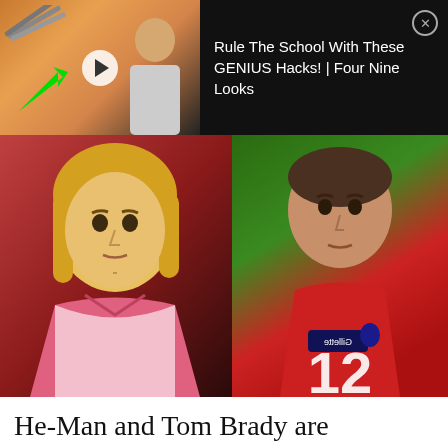[Figure (screenshot): Ad banner with thumbnail showing two people at desks with a green arrow, play button overlay, and text 'Rule The School With These GENIUS Hacks! | Four Nine Looks' on black background with close button]
[Figure (photo): Side-by-side image: left half shows He-Man cartoon character with blonde hair and pink jacket; right half shows Tom Brady in red NFL jersey with Gillette sponsor patch]
He-Man and Tom Brady are powerful men who make being strong look